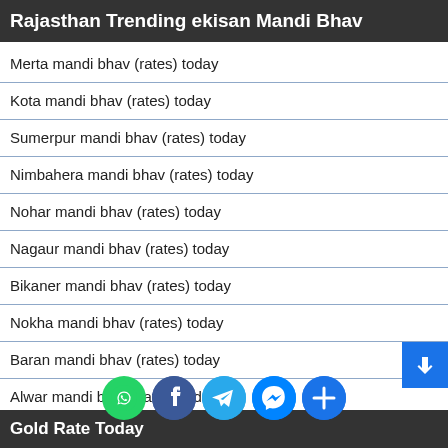Rajasthan Trending ekisan Mandi Bhav
Merta mandi bhav (rates) today
Kota mandi bhav (rates) today
Sumerpur mandi bhav (rates) today
Nimbahera mandi bhav (rates) today
Nohar mandi bhav (rates) today
Nagaur mandi bhav (rates) today
Bikaner mandi bhav (rates) today
Nokha mandi bhav (rates) today
Baran mandi bhav (rates) today
Alwar mandi bhav (rates) today
Jodhpur mandi bhav (rates) today
Gold Rate Today